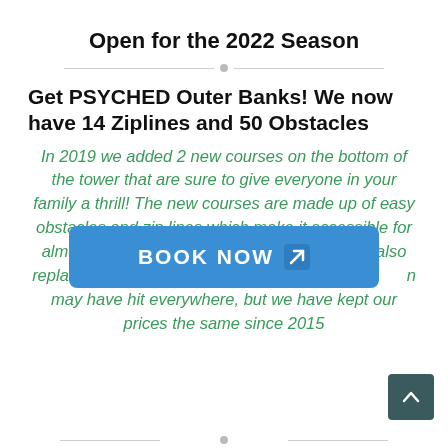Open for the 2022 Season
Get PSYCHED Outer Banks! We now have 14 Ziplines and 50 Obstacles
In 2019 we added 2 new courses on the bottom of the tower that are sure to give everyone in your family a thrill! The new courses are made up of easy obstacles and zip lines which make it accessible for almost anyone who wishes to participate. We also replaced equipment. Also be sure to inflation may have hit everywhere, but we have kept our prices the same since 2015
[Figure (other): Blue 'BOOK NOW' button with arrow icon overlaid on text]